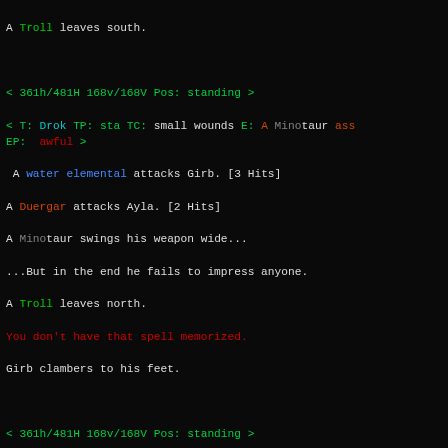A Troll leaves south.
< 361h/481H 168v/168V Pos: standing >
< T: Drok TP: sta TC: small wounds E: A Minotaur ass
EP:  awful >
A water elemental attacks Girb. [3 Hits]
A Duergar attacks Ayla. [2 Hits]
A Minotaur swings his weapon wide...
...But in the end he fails to impress anyone.
A Troll leaves north.
You don't have that spell memorized.
Girb clambers to his feet.
< 361h/481H 168v/168V Pos: standing >
< T: Drok TP: sta TC: small wounds E: A Minotaur ass
EP:  awful >
A Minotaur snaps into visibility.
A Minotaur's eyes briefly cloud over as his body is painfully ripped apart from within.
Nicram completes his spell...
Nicram utters the words 'buoblg qrunsoqpze yugh'
A Minotaur snaps into visibility.
Nicram's fist beats the life out of a Minotaur, blood pours from his body!
A Minotaur's amulet of strength was ...